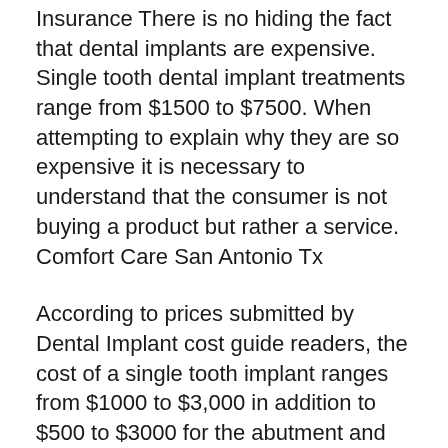Insurance There is no hiding the fact that dental implants are expensive. Single tooth dental implant treatments range from $1500 to $7500. When attempting to explain why they are so expensive it is necessary to understand that the consumer is not buying a product but rather a service. Comfort Care San Antonio Tx
According to prices submitted by Dental Implant cost guide readers, the cost of a single tooth implant ranges from $1000 to $3,000 in addition to $500 to $3000 for the abutment and crown, for an average total cost of $4000.
Getting everything done in one place is more cost effective. The experience and skills of